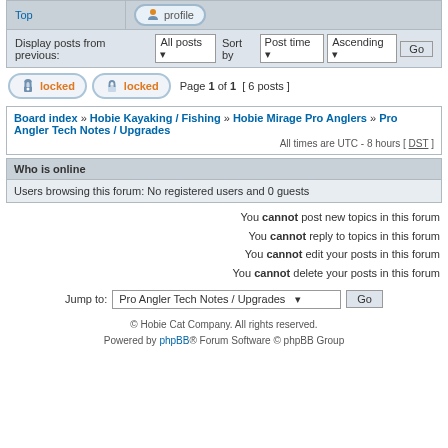Top
profile
Display posts from previous: All posts  Sort by  Post time  Ascending  Go
locked  locked  Page 1 of 1  [ 6 posts ]
Board index » Hobie Kayaking / Fishing » Hobie Mirage Pro Anglers » Pro Angler Tech Notes / Upgrades
All times are UTC - 8 hours [ DST ]
Who is online
Users browsing this forum: No registered users and 0 guests
You cannot post new topics in this forum
You cannot reply to topics in this forum
You cannot edit your posts in this forum
You cannot delete your posts in this forum
Jump to:  Pro Angler Tech Notes / Upgrades  Go
© Hobie Cat Company. All rights reserved.
Powered by phpBB® Forum Software © phpBB Group